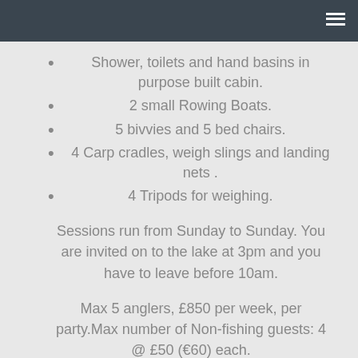Shower, toilets and hand basins in purpose built cabin.
2 small Rowing Boats.
5 bivvies and 5 bed chairs.
4 Carp cradles, weigh slings and landing nets .
4 Tripods for weighing.
Sessions run from Sunday to Sunday. You are invited on to the lake at 3pm and you have to leave before 10am.
Max 5 anglers, £850 per week, per party.Max number of Non-fishing guests: 4 @ £50 (€60) each.
This price equates to under £225 per